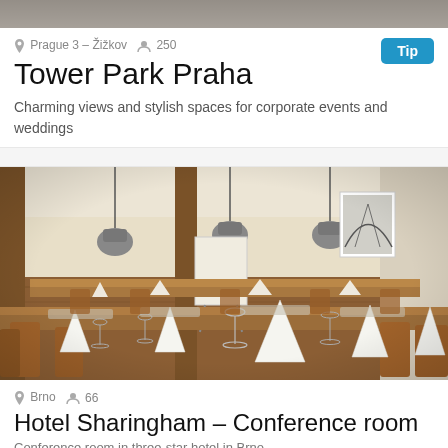[Figure (photo): Top partial image of Tower Park Praha venue, cropped]
Prague 3 – Žižkov  250
Tip
Tower Park Praha
Charming views and stylish spaces for corporate events and weddings
[Figure (photo): Interior photo of Hotel Sharingham conference room with long banquet tables set with white napkins, wine glasses, and wooden chairs. Industrial hanging lamps above.]
Brno  66
Hotel Sharingham – Conference room
Conference room in three-star hotel in Brno